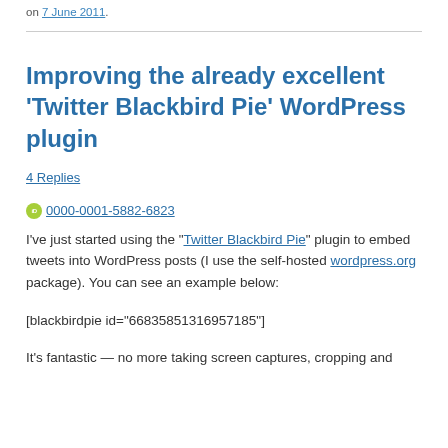on 7 June 2011.
Improving the already excellent ‘Twitter Blackbird Pie’ WordPress plugin
4 Replies
0000-0001-5882-6823
I’ve just started using the “Twitter Blackbird Pie” plugin to embed tweets into WordPress posts (I use the self-hosted wordpress.org package). You can see an example below:
[blackbirdpie id=“66835851316957185”]
It’s fantastic — no more taking screen captures, cropping and